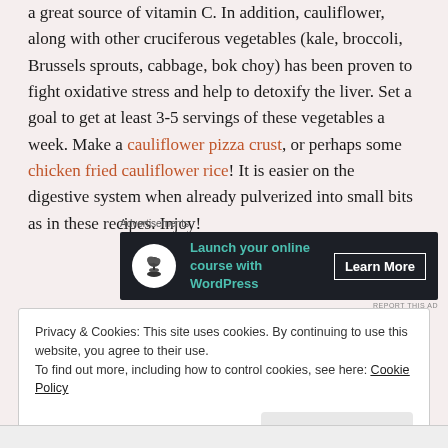a great source of vitamin C. In addition, cauliflower, along with other cruciferous vegetables (kale, broccoli, Brussels sprouts, cabbage, bok choy) has been proven to fight oxidative stress and help to detoxify the liver. Set a goal to get at least 3-5 servings of these vegetables a week. Make a cauliflower pizza crust, or perhaps some chicken fried cauliflower rice! It is easier on the digestive system when already pulverized into small bits as in these recipes. Injoy!
[Figure (other): Advertisement banner: dark background with tree/bonsai icon, text 'Launch your online course with WordPress', and 'Learn More' button]
Privacy & Cookies: This site uses cookies. By continuing to use this website, you agree to their use.
To find out more, including how to control cookies, see here: Cookie Policy
Close and accept